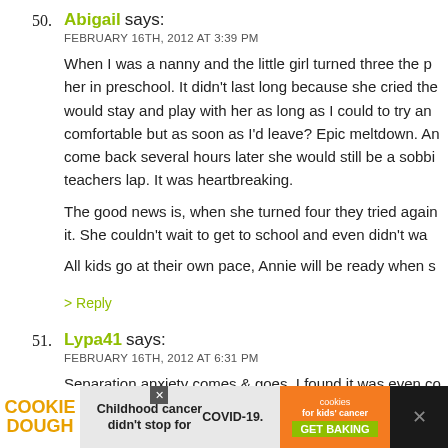50. Abigail says: FEBRUARY 16TH, 2012 AT 3:39 PM
When I was a nanny and the little girl turned three the p... her in preschool. It didn't last long because she cried th... would stay and play with her as long as I could to try an... comfortable but as soon as I'd leave? Epic meltdown. An... come back several hours later she would still be a sobbi... teachers lap. It was heartbreaking.
The good news is, when she turned four they tried again... it. She couldn't wait to get to school and even didn't wa...
All kids go at their own pace, Annie will be ready when s...
51. Lypa41 says: FEBRUARY 16TH, 2012 AT 6:31 PM
Separation anxiety comes & goes. I found it was even co... there at 3 & 4yo as at those ages they develop BIG imag... things will freak them out more sometimes. How I dealt...
[Figure (other): Advertisement banner at bottom: Cookie Dough ad with text 'Childhood cancer didn't stop for COVID-19.' and 'GET BAKING' button, cookies for kids' cancer logo]